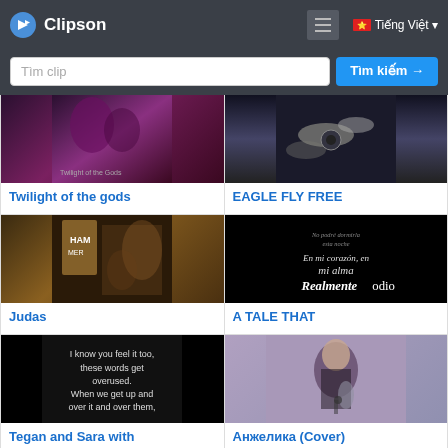Clipson
Tìm clip
Tìm kiếm →
[Figure (photo): Thumbnail for Twilight of the gods - dark fantasy art]
Twilight of the gods
[Figure (photo): Thumbnail for EAGLE FLY FREE - drumset cymbals]
EAGLE FLY FREE
[Figure (photo): Thumbnail for Judas - album art with warriors]
Judas
[Figure (photo): Thumbnail for A TALE THAT - black background with Spanish text]
A TALE THAT
[Figure (photo): Thumbnail for Tegan and Sara - black background with song lyrics]
Tegan and Sara with
[Figure (photo): Thumbnail for Анжелика (Cover) - woman holding microphone]
Анжелика (Cover)